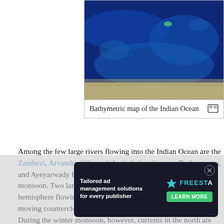[Figure (map): Bathymetric map of the Indian Ocean showing ocean depth in shades of blue, with sandy/shallow coastal areas visible at the bottom]
Bathymetric map of the Indian Ocean
Among the few large rivers flowing into the Indian Ocean are the Zambezi, Arvandrud/Shatt-al-Arab, Indus, Ganges, Brahmaputra, and Ayeyarwady River. Currents are mainly controlled by the monsoon. Two large circular currents, one in the northern hemisphere flowing clockwise and one south of the equator moving counterclockwise, constitute the dominant flow pattern. During the winter monsoon, however, currents in the north are reversed. Deepwater circulation is controlled primarily by inflows from the Atlantic Ocean, the Red Sea, and Antarctic currents. North of 20°... temperature is 22 °C (72 °F), exceeding 28 °C (82 °F)... than Southward of 40° south latitude, temperatures drop...
[Figure (screenshot): Advertisement banner for Freestar: Tailored ad management solutions for every publisher with Learn More button]